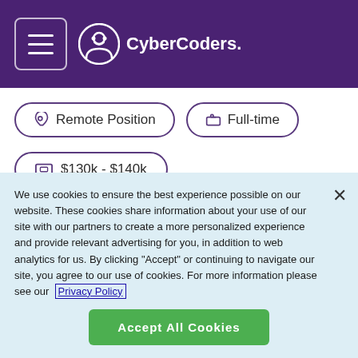[Figure (logo): CyberCoders logo with hamburger menu icon on purple header background]
Remote Position
Full-time
$130k - $140k
Apply Now
We use cookies to ensure the best experience possible on our website. These cookies share information about your use of our site with our partners to create a more personalized experience and provide relevant advertising for you, in addition to web analytics for us. By clicking "Accept" or continuing to navigate our site, you agree to our use of cookies. For more information please see our Privacy Policy
Accept All Cookies